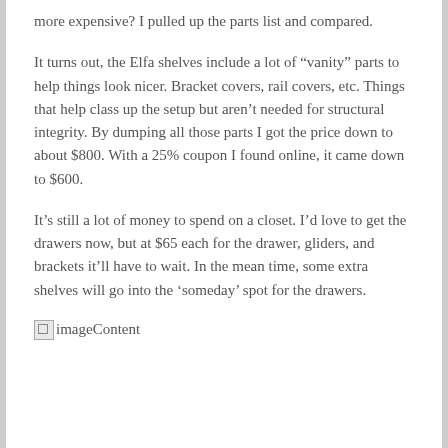more expensive? I pulled up the parts list and compared.
It turns out, the Elfa shelves include a lot of “vanity” parts to help things look nicer. Bracket covers, rail covers, etc. Things that help class up the setup but aren’t needed for structural integrity. By dumping all those parts I got the price down to about $800. With a 25% coupon I found online, it came down to $600.
It’s still a lot of money to spend on a closet. I’d love to get the drawers now, but at $65 each for the drawer, gliders, and brackets it’ll have to wait. In the mean time, some extra shelves will go into the ‘someday’ spot for the drawers.
[Figure (photo): Broken image placeholder labeled imageContent]